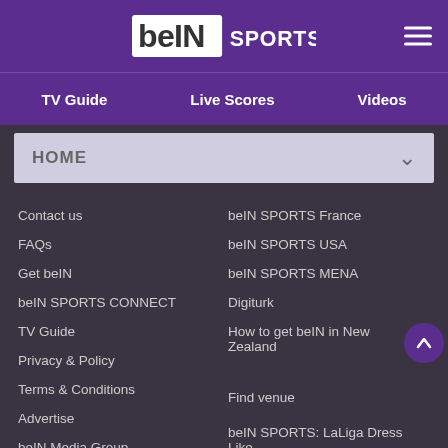[Figure (logo): beIN SPORTS logo in header]
TV Guide | Live Scores | Videos
HOME
Contact us
FAQs
Get beIN
beIN SPORTS CONNECT
TV Guide
Privacy & Policy
Terms & Conditions
Advertise
beIN Media Group
beIN SPORTS France
beIN SPORTS USA
beIN SPORTS MENA
Digiturk
How to get beIN in New Zealand
Find venue
beIN SPORTS: LaLiga Dress Like Your Team T&Cs